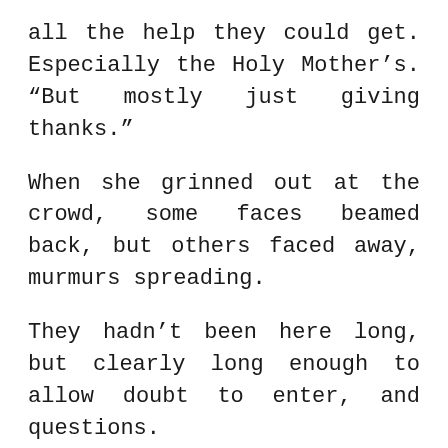all the help they could get. Especially the Holy Mother's. “But mostly just giving thanks.”
When she grinned out at the crowd, some faces beamed back, but others faced away, murmurs spreading.
They hadn’t been here long, but clearly long enough to allow doubt to enter, and questions.
“Monsters,” someone whispered.
“Dangerous,” said another.